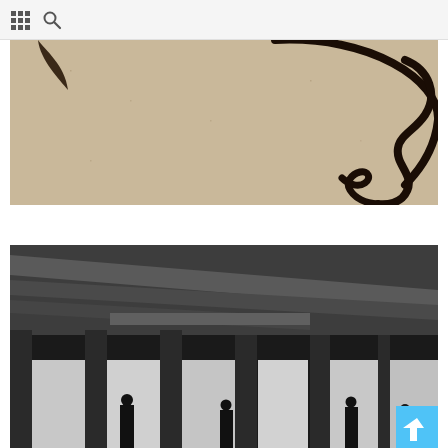Grid icon and Search icon navigation bar
[Figure (illustration): Close-up of ink brush drawing of a face profile on beige/tan paper background — abstract curving black lines suggesting a nose and facial contour, with a leaf-like shape at upper left]
[Figure (photo): Black and white photograph taken from below a concrete overpass or bridge structure, showing massive concrete beams and columns with silhouettes of several people standing underneath, bright background visible between columns]